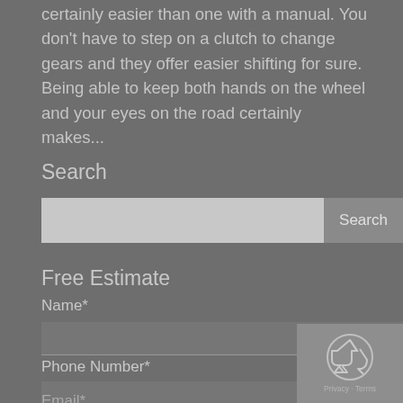certainly easier than one with a manual. You don't have to step on a clutch to change gears and they offer easier shifting for sure. Being able to keep both hands on the wheel and your eyes on the road certainly makes...
Search
[Figure (screenshot): Search input box with a Search button on the right]
Free Estimate
Name*
Phone Number*
Email*
[Figure (other): reCAPTCHA widget showing recycling arrows icon with Privacy and Terms text]